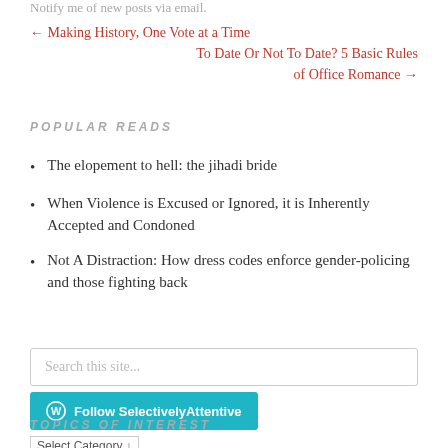Notify me of new posts via email.
← Making History, One Vote at a Time   To Date Or Not To Date? 5 Basic Rules of Office Romance →
POPULAR READS
The elopement to hell: the jihadi bride
When Violence is Excused or Ignored, it is Inherently Accepted and Condoned
Not A Distraction: How dress codes enforce gender-policing and those fighting back
Search this site...
Follow SelectivelyAttentive
TOPICS OF INTEREST
Select Category ↓